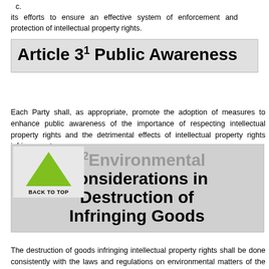c. its efforts to ensure an effective system of enforcement and protection of intellectual property rights.
Article 31 Public Awareness
Each Party shall, as appropriate, promote the adoption of measures to enhance public awareness of the importance of respecting intellectual property rights and the detrimental effects of intellectual property rights infringement.
Article 32 Environmental Considerations in Destruction of Infringing Goods
The destruction of goods infringing intellectual property rights shall be done consistently with the laws and regulations on environmental matters of the Party in which the destruction takes place.